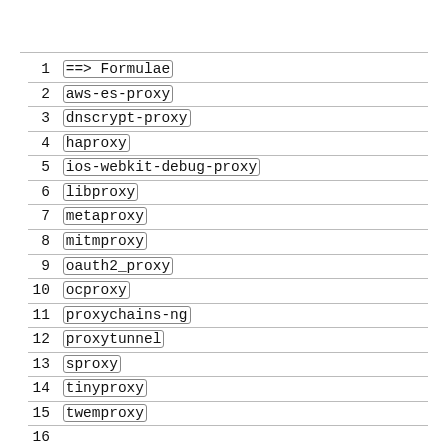1 ==> Formulae
2 aws-es-proxy
3 dnscrypt-proxy
4 haproxy
5 ios-webkit-debug-proxy
6 libproxy
7 metaproxy
8 mitmproxy
9 oauth2_proxy
10 ocproxy
11 proxychains-ng
12 proxytunnel
13 sproxy
14 tinyproxy
15 twemproxy
16
17 ==> Casks
18 proxyman